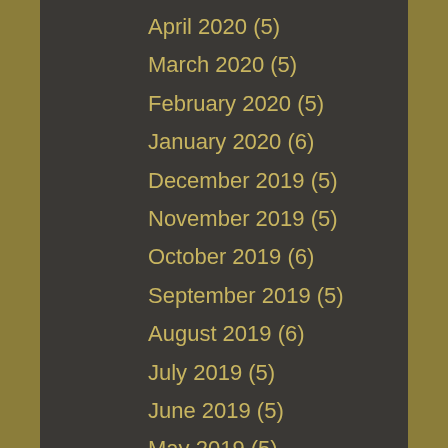April 2020 (5)
March 2020 (5)
February 2020 (5)
January 2020 (6)
December 2019 (5)
November 2019 (5)
October 2019 (6)
September 2019 (5)
August 2019 (6)
July 2019 (5)
June 2019 (5)
May 2019 (5)
April 2019 (5)
March 2019 (6)